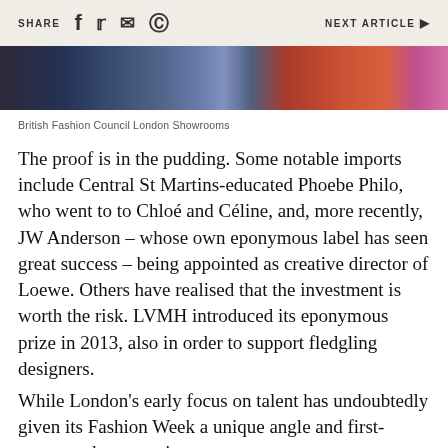SHARE   NEXT ARTICLE ▶
[Figure (photo): Cropped photo strip showing fashion event attendees at British Fashion Council London Showrooms]
British Fashion Council London Showrooms
The proof is in the pudding. Some notable imports include Central St Martins-educated Phoebe Philo, who went to to Chloé and Céline, and, more recently, JW Anderson – whose own eponymous label has seen great success – being appointed as creative director of Loewe. Others have realised that the investment is worth the risk. LVMH introduced its eponymous prize in 2013, also in order to support fledgling designers.
While London's early focus on talent has undoubtedly given its Fashion Week a unique angle and first-movers advantage, its